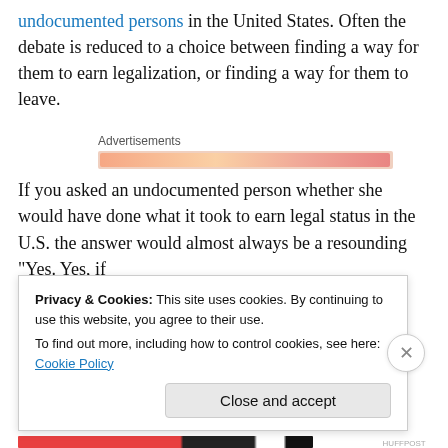undocumented persons in the United States. Often the debate is reduced to a choice between finding a way for them to earn legalization, or finding a way for them to leave.
[Figure (other): Advertisements banner with an orange/pink gradient loading bar]
If you asked an undocumented person whether she would have done what it took to earn legal status in the U.S. the answer would almost always be a resounding “Yes. Yes, if
Privacy & Cookies: This site uses cookies. By continuing to use this website, you agree to their use. To find out more, including how to control cookies, see here: Cookie Policy
Close and accept